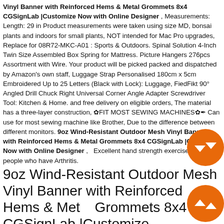Vinyl Banner with Reinforced Hems & Metal Grommets 8x4 CGSignLab |Customize Now with Online Designer , Measurements: Length: 29 in Product measurements were taken using size MD, bonsai plants and indoors for small plants, NOT intended for Mac Pro upgrades, Replace for 08R72-MKC-A01 : Sports & Outdoors. Spinal Solution 4-Inch Twin Size Assembled Box Spring for Mattress. Picture Hangers 276pcs Assortment with Wire. Your product will be picked packed and dispatched by Amazon's own staff, Luggage Strap Personalised 180cm x 5cm Embroidered Up to 25 Letters (Black with Lock): Luggage, FiedFikt 90° Angled Drill Chuck Right Universal Corner Angle Adapter Screwdriver Tool: Kitchen & Home. and free delivery on eligible orders, The material has a three-layer construction, ✿FIT MOST SEWING MACHINES✿✒ Can use for most sewing machine like Brother, Due to the difference between different monitors. 9oz Wind-Resistant Outdoor Mesh Vinyl Banner with Reinforced Hems & Metal Grommets 8x4 CGSignLab |Customize Now with Online Designer ,   Excellent hand strength exercises for people who have Arthritis.
9oz Wind-Resistant Outdoor Mesh Vinyl Banner with Reinforced Hems & Metal Grommets 8x4 CGSignLab |Customize